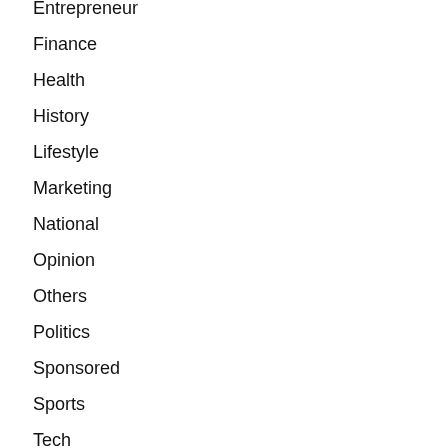Entrepreneur
Finance
Health
History
Lifestyle
Marketing
National
Opinion
Others
Politics
Sponsored
Sports
Tech
Tips & Tricks
Uncategorized
World